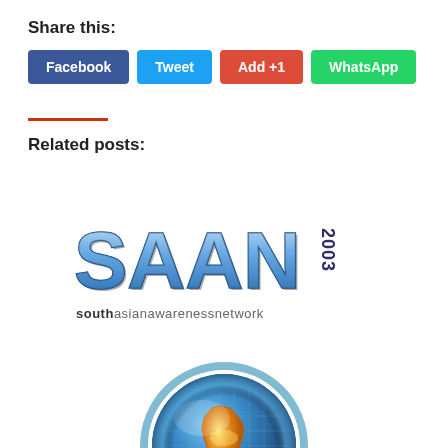Share this:
Facebook | Tweet | Add +1 | WhatsApp
Related posts:
[Figure (logo): SAAN 2003 South Asian Awareness Network logo with globe showing India]